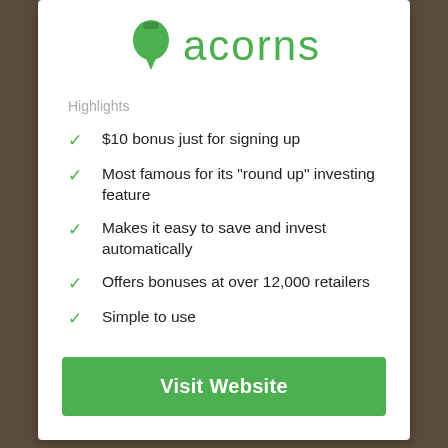[Figure (logo): Acorns app logo — green acorn icon and 'acorns' wordmark in green]
Highlights
$10 bonus just for signing up
Most famous for its "round up" investing feature
Makes it easy to save and invest automatically
Offers bonuses at over 12,000 retailers
Simple to use
Visit Website